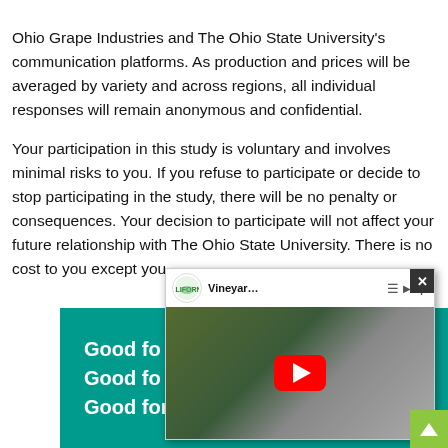Ohio Grape Industries and The Ohio State University's communication platforms. As production and prices will be averaged by variety and across regions, all individual responses will remain anonymous and confidential.
Your participation in this study is voluntary and involves minimal risks to you. If you refuse to participate or decide to stop participating in the study, there will be no penalty or consequences. Your decision to participate will not affect your future relationship with The Ohio State University. There is no cost to you except you...
[Figure (screenshot): YouTube video popup overlay showing a video titled 'Vineyar...' with a California Grapes logo, red play button on dark background with vineyard imagery. Has a close (X) button in the top right corner.]
[Figure (screenshot): Green banner advertisement reading 'Good fo... / Good fo... / Good for Your Bottom Line' with 'Bottom Line' in yellow-green text on teal background.]
[Figure (other): Green scroll-to-top button with upward arrow in the bottom-right corner.]